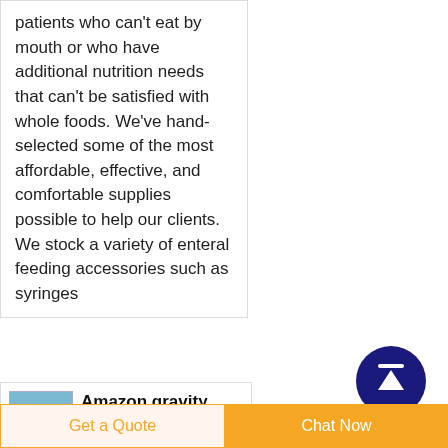patients who can't eat by mouth or who have additional nutrition needs that can't be satisfied with whole foods. We've hand- selected some of the most affordable, effective, and comfortable supplies possible to help our clients. We stock a variety of enteral feeding accessories such as syringes
[Figure (illustration): Dark navy blue circular button with white upward arrow and line at top, a scroll-to-top UI button]
[Figure (photo): Small thumbnail image of enteral feeding syringes/bags on blue background]
Amazon gravity feeding bags
Denshine Disposable Enteral
Get a Quote
Chat Now